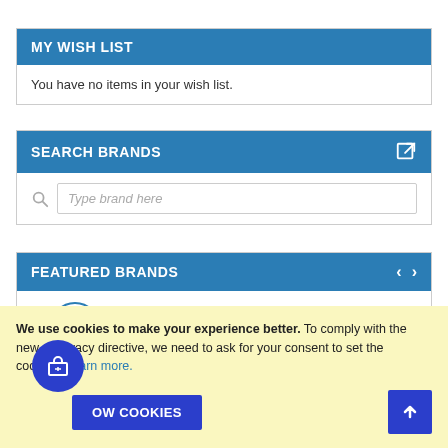MY WISH LIST
You have no items in your wish list.
SEARCH BRANDS
Type brand here
FEATURED BRANDS
We use cookies to make your experience better. To comply with the new e-Privacy directive, we need to ask for your consent to set the cookies. Learn more.
OW COOKIES